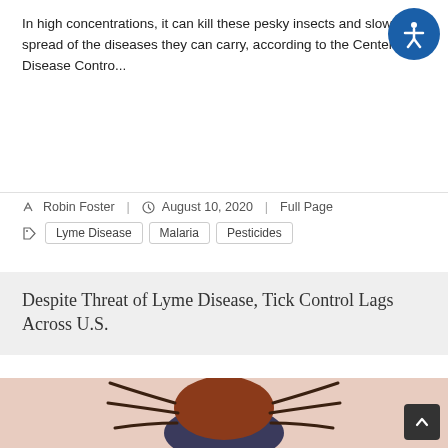In high concentrations, it can kill these pesky insects and slow the spread of the diseases they can carry, according to the Centers for Disease Contro...
Robin Foster | August 10, 2020 | Full Page
Lyme Disease
Malaria
Pesticides
Despite Threat of Lyme Disease, Tick Control Lags Across U.S.
[Figure (photo): Close-up macro photo of a tick on skin, showing brown/red body and dark legs]